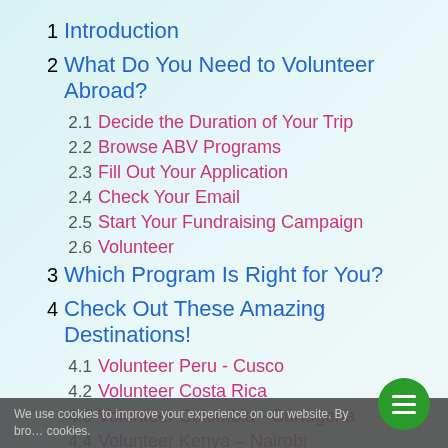1 Introduction
2 What Do You Need to Volunteer Abroad?
2.1 Decide the Duration of Your Trip
2.2 Browse ABV Programs
2.3 Fill Out Your Application
2.4 Check Your Email
2.5 Start Your Fundraising Campaign
2.6 Volunteer
3 Which Program Is Right for You?
4 Check Out These Amazing Destinations!
4.1 Volunteer Peru - Cusco
4.2 Volunteer Costa Rica
4.3 Volunteer Colombia - Cartagena
4.4 Volunteer Kenya - Nairobi
4.5 Volunteer Uganda
We use cookies to improve your experience on our website. By bro... cookies.